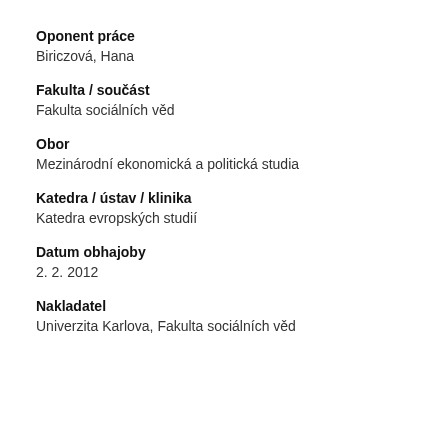Oponent práce
Biriczová, Hana
Fakulta / součást
Fakulta sociálních věd
Obor
Mezinárodní ekonomická a politická studia
Katedra / ústav / klinika
Katedra evropských studií
Datum obhajoby
2. 2. 2012
Nakladatel
Univerzita Karlova, Fakulta sociálních věd